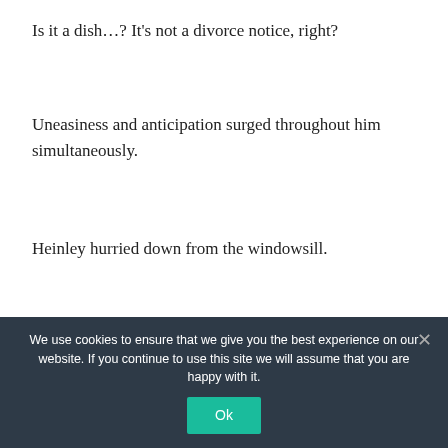Is it a dish…? It's not a divorce notice, right?
Uneasiness and anticipation surged throughout him simultaneously.
Heinley hurried down from the windowsill.
***
Heinley appeared less than five minutes after Rose
We use cookies to ensure that we give you the best experience on our website. If you continue to use this site we will assume that you are happy with it.